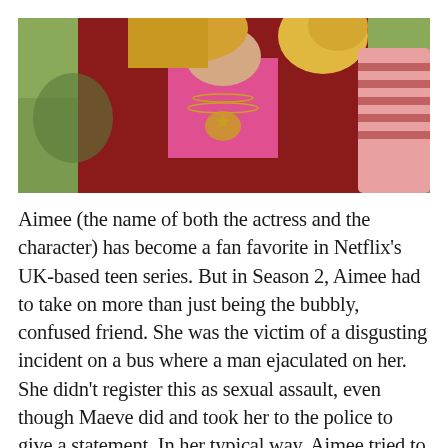[Figure (photo): A young blonde woman wearing a red blazer/jacket and a pink top, with layered gold necklaces. She is photographed from the neck/chest area up. The background shows green grass and a blurred figure in a pink striped shirt.]
Aimee (the name of both the actress and the character) has become a fan favorite in Netflix’s UK-based teen series. But in Season 2, Aimee had to take on more than just being the bubbly, confused friend. She was the victim of a disgusting incident on a bus where a man ejaculated on her. She didn’t register this as sexual assault, even though Maeve did and took her to the police to give a statement. In her typical way, Aimee tried to smile and ignore it. Throughout the season, we saw how burying her fear was not the way to overcome it, as she cheerily decided to walk the many miles to school rather than getting on the bus again, and suddenly stopped wanting to have sex with her boyfriend. Aimee’s quiet